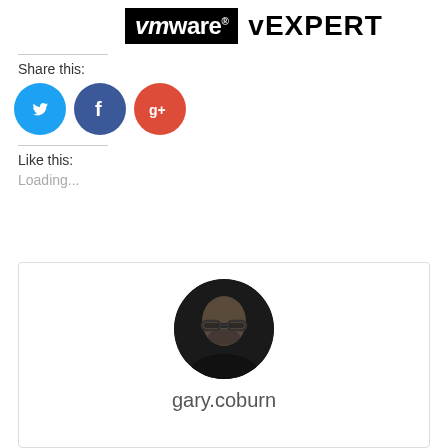[Figure (logo): VMware vEXPERT logo: black box with 'vmware' text and registered mark, followed by 'vEXPERT' in large bold text]
Share this:
[Figure (infographic): Three social media share buttons: Twitter (blue circle with bird icon), Facebook (dark blue circle with f icon), Google+ (red circle with g+ icon)]
Like this:
Loading...
[Figure (photo): Circular profile photo of gary.coburn — a man with glasses and a beard]
gary.coburn